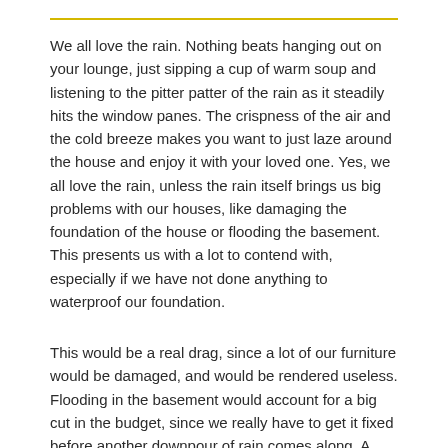We all love the rain. Nothing beats hanging out on your lounge, just sipping a cup of warm soup and listening to the pitter patter of the rain as it steadily hits the window panes. The crispness of the air and the cold breeze makes you want to just laze around the house and enjoy it with your loved one. Yes, we all love the rain, unless the rain itself brings us big problems with our houses, like damaging the foundation of the house or flooding the basement. This presents us with a lot to contend with, especially if we have not done anything to waterproof our foundation.
This would be a real drag, since a lot of our furniture would be damaged, and would be rendered useless. Flooding in the basement would account for a big cut in the budget, since we really have to get it fixed before another downpour of rain comes along. A large amount of work and effort will be expended to at least save some of the things that basement floods have damaged so the best solution to basement flooding, of course, is